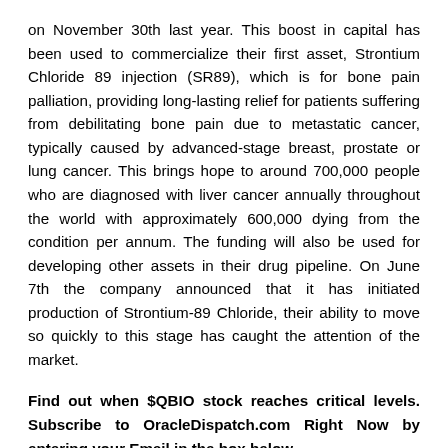on November 30th last year. This boost in capital has been used to commercialize their first asset, Strontium Chloride 89 injection (SR89), which is for bone pain palliation, providing long-lasting relief for patients suffering from debilitating bone pain due to metastatic cancer, typically caused by advanced-stage breast, prostate or lung cancer. This brings hope to around 700,000 people who are diagnosed with liver cancer annually throughout the world with approximately 600,000 dying from the condition per annum. The funding will also be used for developing other assets in their drug pipeline. On June 7th the company announced that it has initiated production of Strontium-89 Chloride, their ability to move so quickly to this stage has caught the attention of the market.
Find out when $QBIO stock reaches critical levels. Subscribe to OracleDispatch.com Right Now by entering your Email in the box below.